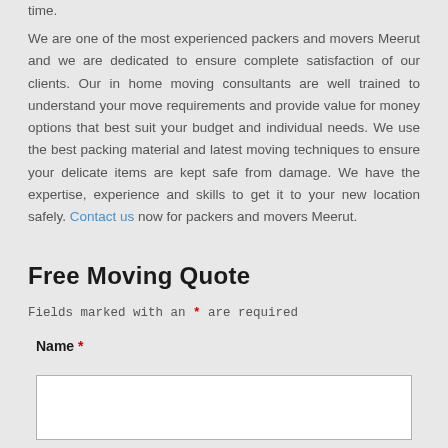time.
We are one of the most experienced packers and movers Meerut and we are dedicated to ensure complete satisfaction of our clients. Our in home moving consultants are well trained to understand your move requirements and provide value for money options that best suit your budget and individual needs. We use the best packing material and latest moving techniques to ensure your delicate items are kept safe from damage. We have the expertise, experience and skills to get it to your new location safely. Contact us now for packers and movers Meerut.
Free Moving Quote
Fields marked with an * are required
Name *